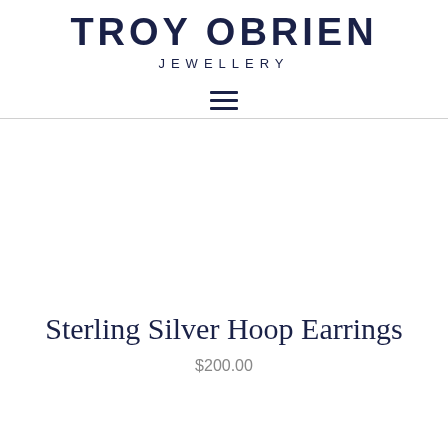TROY OBRIEN JEWELLERY
[Figure (other): Hamburger menu icon (three horizontal lines)]
[Figure (photo): Product image area — appears blank/white, likely a product photo of Sterling Silver Hoop Earrings]
Sterling Silver Hoop Earrings
$200.00